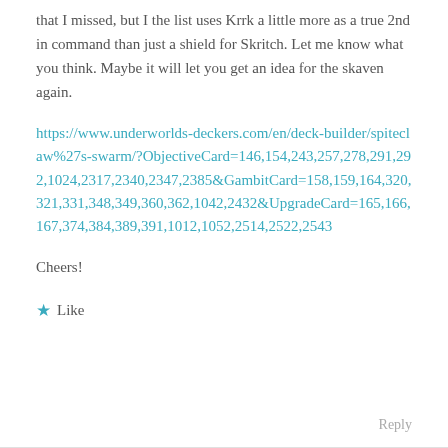that I missed, but I the list uses Krrk a little more as a true 2nd in command than just a shield for Skritch. Let me know what you think. Maybe it will let you get an idea for the skaven again.
https://www.underworlds-deckers.com/en/deck-builder/spiteclaw%27s-swarm/?ObjectiveCard=146,154,243,257,278,291,292,1024,2317,2340,2347,2385&GambitCard=158,159,164,320,321,331,348,349,360,362,1042,2432&UpgradeCard=165,166,167,374,384,389,391,1012,1052,2514,2522,2543
Cheers!
★ Like
Reply